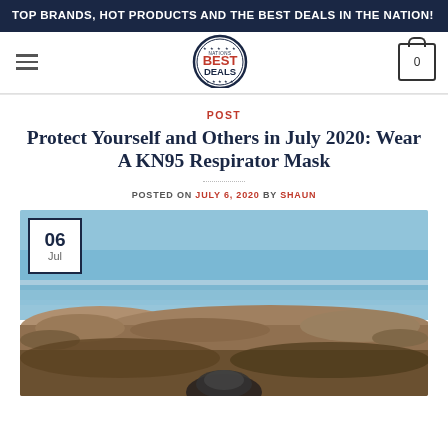TOP BRANDS, HOT PRODUCTS AND THE BEST DEALS IN THE NATION!
[Figure (logo): Nations Best Deals circular logo with red text BEST DEALS and blue border]
Protect Yourself and Others in July 2020: Wear A KN95 Respirator Mask
POST
POSTED ON JULY 6, 2020 BY SHAUN
[Figure (photo): Coastal/beach scene with rocky shoreline and blue sky, date badge showing 06 Jul in top-left corner, person wearing KN95 mask visible at bottom]